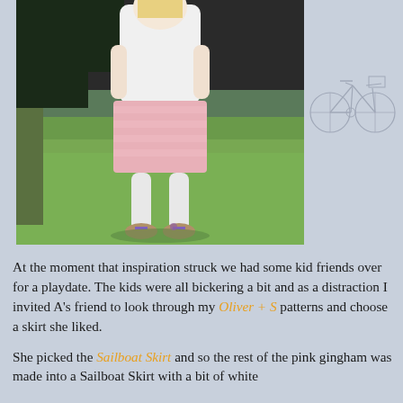[Figure (photo): A young girl with long blonde hair, wearing a white top and a pink skirt with white tights and tan shoes with purple laces, standing on a green grass lawn, photographed from behind/side. There is a tree and dark background visible. A faint bicycle illustration appears to the right of the photo.]
At the moment that inspiration struck we had some kid friends over for a playdate. The kids were all bickering a bit and as a distraction I invited A's friend to look through my Oliver + S patterns and choose a skirt she liked.
She picked the Sailboat Skirt and so the rest of the pink gingham was made into a Sailboat Skirt with a bit of white